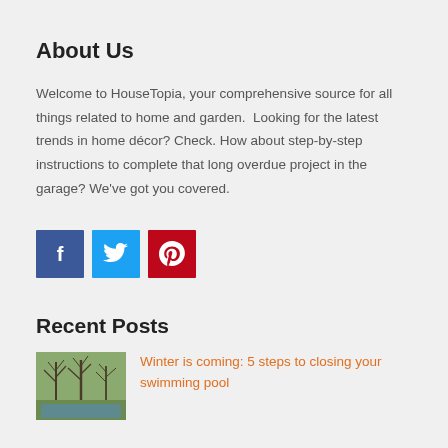About Us
Welcome to HouseTopia, your comprehensive source for all things related to home and garden.  Looking for the latest trends in home décor? Check. How about step-by-step instructions to complete that long overdue project in the garage? We've got you covered.
[Figure (infographic): Social media icon buttons: Facebook (blue, f), Twitter (light blue, bird), Pinterest (red, p)]
Recent Posts
[Figure (photo): Outdoor photo showing bare trees in winter/early spring, with a pool visible, greenish ground]
Winter is coming: 5 steps to closing your swimming pool